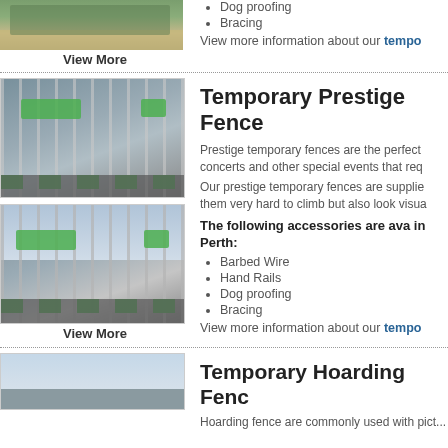[Figure (photo): Partial view of temporary fence photo at top of page (cropped)]
Dog proofing
Bracing
View more information about our tempo
View More
Temporary Prestige Fence
Prestige temporary fences are the perfect concerts and other special events that req
Our prestige temporary fences are supplie them very hard to climb but also look visua
The following accessories are ava in Perth:
Barbed Wire
Hand Rails
Dog proofing
Bracing
View more information about our tempo
[Figure (photo): Temporary prestige fence - top image showing metal fencing with green bases and RENT A FENCE signs]
[Figure (photo): Temporary prestige fence - bottom image showing metal fencing with green bases and RENT A FENCE signs]
View More
Temporary Hoarding Fenc
[Figure (photo): Partial view of hoarding fence photo at bottom of page (cropped)]
Hoarding fence are commonly used with pict...